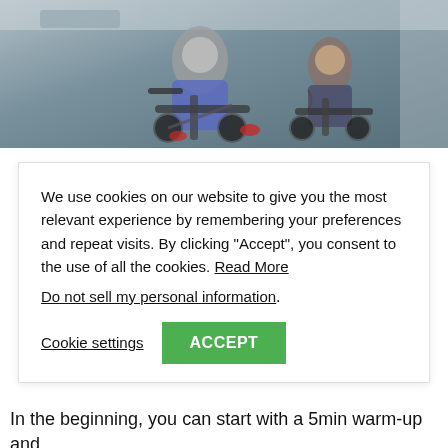[Figure (photo): People riding stationary exercise bikes in a gym setting. A man in a gray shirt and blue shorts is visible on a spin bike, and a woman with tattoos is riding next to him.]
We use cookies on our website to give you the most relevant experience by remembering your preferences and repeat visits. By clicking “Accept”, you consent to the use of all the cookies. Read More
Do not sell my personal information.
Cookie settings  ACCEPT
In the beginning, you can start with a 5min warm-up and
Search for
1. TIPS TO BURN STOMACH FAT FAST
2. AT HOME EASY EXERCISES
Yahoo! Search | Sponsored